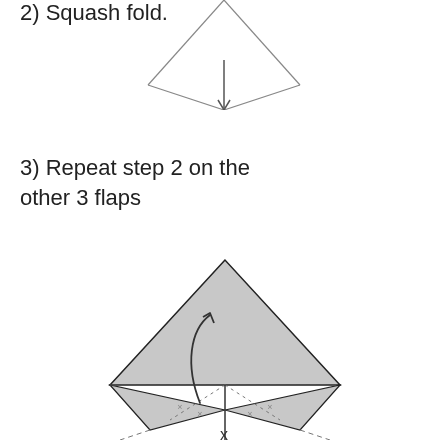[Figure (illustration): Top portion of an origami diagram showing a downward-pointing triangular shape with fold lines, partially cropped at top of page.]
2) Squash fold.
3) Repeat step 2 on the other 3 flaps
[Figure (illustration): Origami folding diagram showing a gray triangle shape (like a mountain or bird base) with a curved arrow indicating a squash fold motion, dashed fold lines across the middle, dotted lines indicating crease marks, and small flap extensions at the bottom with dashed lines showing fold directions.]
x